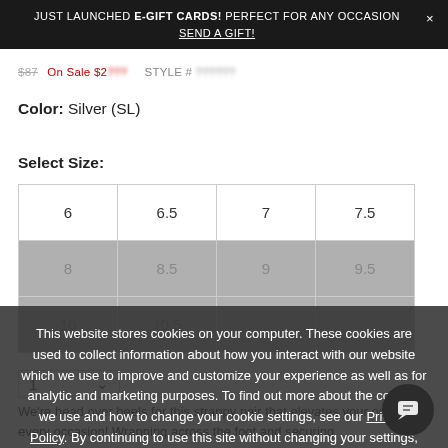JUST LAUNCHED E-GIFT CARDS! PERFECT FOR ANY OCCASION × SEND A GIFT!
$87  On Sale $2??? STYLE # ??????
Color: Silver (SL)
Select Size:
| 6 | 6.5 | 7 | 7.5 |
| 8 | 8.5 | 9 | 9.5 |
| 10 | 10.5 | - | - |
1 ∨
This website stores cookies on your computer. These cookies are used to collect information about how you interact with our website which we use to improve and customize your experience as well as for analytic and marketing purposes. To find out more about the cookies we use and how to change your cookie settings, see our Privacy Policy. By continuing to use this site without changing your settings, you consent to our use of cookies.
I AGREE
We're head over heels for this strappy pair that elevates your outfit for every occasion! Wrapping across the foot and securing